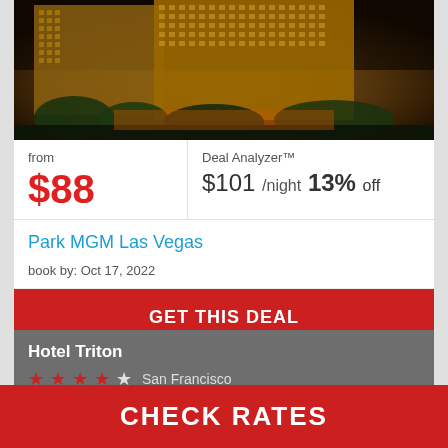[Figure (photo): Night-time photo of Park MGM Las Vegas hotel exterior showing illuminated gold facade and Las Vegas Strip]
from
$88
Deal Analyzer™
$101 /night 13% off
Park MGM Las Vegas
book by: Oct 17, 2022
GET THIS DEAL
Hotel Triton
San Francisco
CHECK RATES